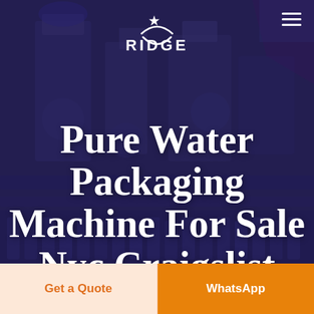[Figure (photo): Dark blue/purple tinted industrial water packaging machinery in background]
RIDGE (logo with star and crescent arc)
Pure Water Packaging Machine For Sale Nyc Craigslist
Home  Products
Get a Quote
WhatsApp